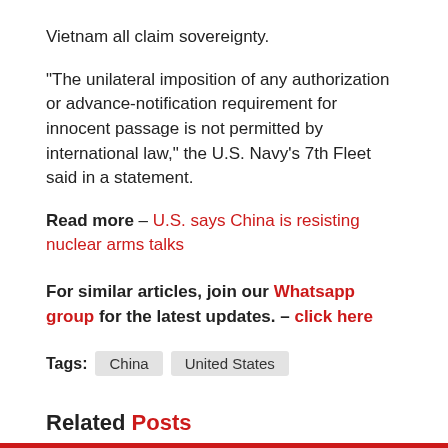Vietnam all claim sovereignty.
“The unilateral imposition of any authorization or advance-notification requirement for innocent passage is not permitted by international law,” the U.S. Navy’s 7th Fleet said in a statement.
Read more – U.S. says China is resisting nuclear arms talks
For similar articles, join our Whatsapp group for the latest updates. – click here
Tags: China  United States
Related Posts